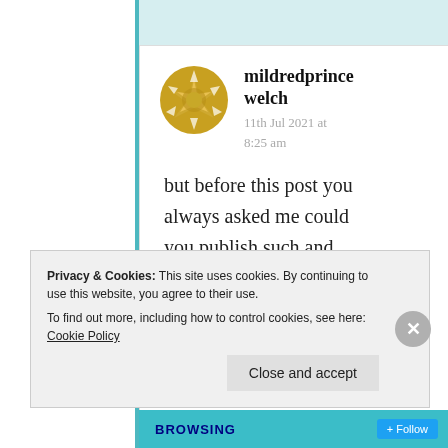[Figure (illustration): Golden star/compass rose avatar icon for user mildredprincewelch]
mildredprince welch
11th Jul 2021 at 8:25 am
but before this post you always asked me could you publish such and
Privacy & Cookies: This site uses cookies. By continuing to use this website, you agree to their use.
To find out more, including how to control cookies, see here: Cookie Policy
Close and accept